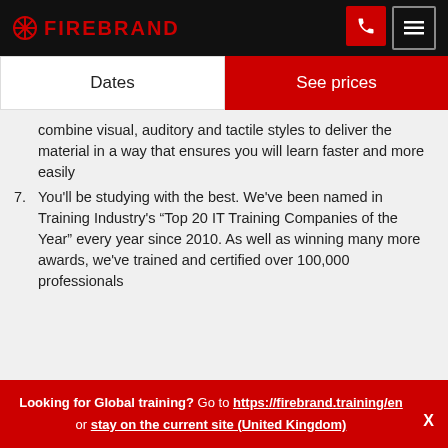FIREBRAND
Dates | See prices
combine visual, auditory and tactile styles to deliver the material in a way that ensures you will learn faster and more easily
7. You'll be studying with the best. We've been named in Training Industry's “Top 20 IT Training Companies of the Year” every year since 2010. As well as winning many more awards, we've trained and certified over 100,000 professionals
Looking for Global training? Go to https://firebrand.training/en or stay on the current site (United Kingdom)  X